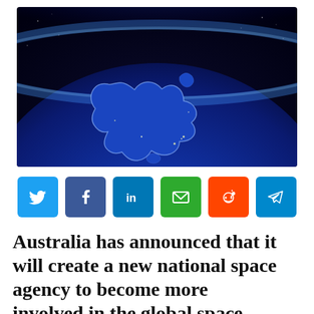[Figure (photo): Satellite/space view of Australia at night from orbit, showing the continent illuminated in blue light against a dark background with the Earth's curved horizon visible at the top.]
[Figure (infographic): Row of six social media sharing buttons: Twitter (blue bird icon), Facebook (blue f icon), LinkedIn (blue 'in' icon), Email (green envelope icon), Reddit (orange alien icon), Telegram (blue paper plane icon).]
Australia has announced that it will create a new national space agency to become more involved in the global space economy.